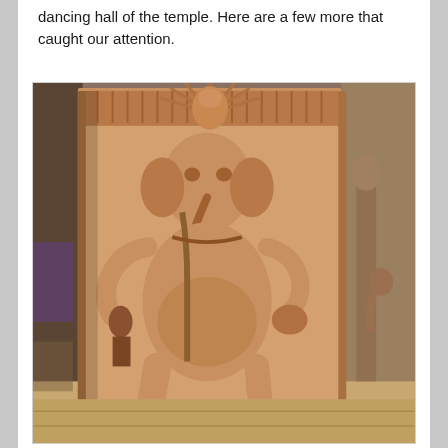dancing hall of the temple. Here are a few more that caught our attention.
[Figure (photo): Stone carving relief panel from a Hindu temple showing a figure, likely Ganesha or a deity, carved in sandstone. The figure is standing with multiple arms, elaborate headdress with radiating elements, holding objects. Background shows temple interior columns. Warm brownish-orange sandstone color.]